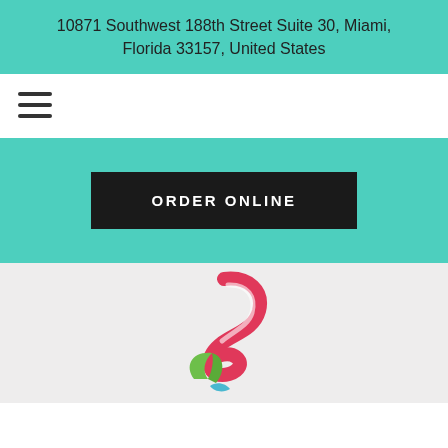10871 Southwest 188th Street Suite 30, Miami, Florida 33157, United States
[Figure (other): Hamburger menu icon (three horizontal lines)]
ORDER ONLINE
[Figure (logo): Stylized ice cream or dessert logo with pink and green swirl shapes forming a number-like figure]